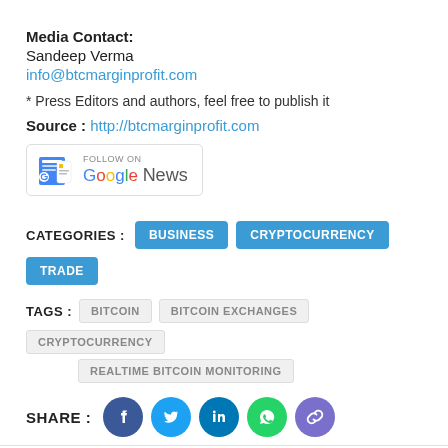Media Contact:
Sandeep Verma
info@btcmarginprofit.com
* Press Editors and authors, feel free to publish it
Source : http://btcmarginprofit.com
[Figure (logo): Follow on Google News badge/button]
CATEGORIES : BUSINESS   CRYPTOCURRENCY   TRADE
TAGS : BITCOIN   BITCOIN EXCHANGES   CRYPTOCURRENCY   REALTIME BITCOIN MONITORING
SHARE : [Facebook] [Twitter] [LinkedIn] [WhatsApp] [Link]